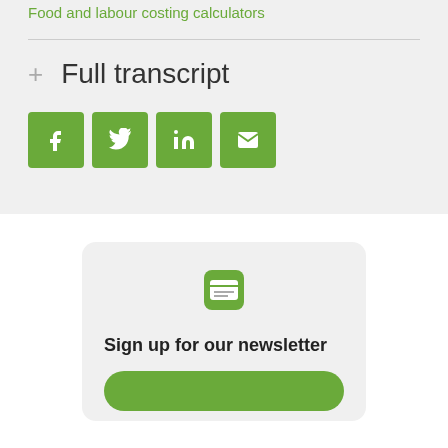Food and labour costing calculators
+ Full transcript
[Figure (infographic): Social sharing icon buttons for Facebook, Twitter, LinkedIn, and Email, each in a green square]
[Figure (infographic): Newsletter sign-up card with green envelope/badge icon, heading 'Sign up for our newsletter', and a green button below]
Sign up for our newsletter